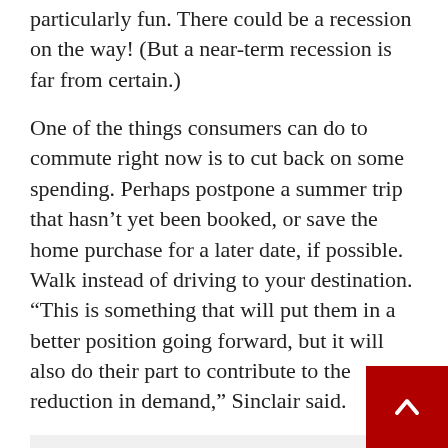particularly fun. There could be a recession on the way! (But a near-term recession is far from certain.)
One of the things consumers can do to commute right now is to cut back on some spending. Perhaps postpone a summer trip that hasn't yet been booked, or save the home purchase for a later date, if possible. Walk instead of driving to your destination. “This is something that will put them in a better position going forward, but it will also do their part to contribute to the reduction in demand,” Sinclair said.
See also  Kellogg, Lennar, Spirit Airlines, etc.
Schulze said that if you have credit card debt, try to pay it off now, before rates go up any further. “This debt is going to get more expensive in a very big hurry. It w definitely be smart to try to get rid of this debt as much as you can,” he said. In her monthly review of credit card